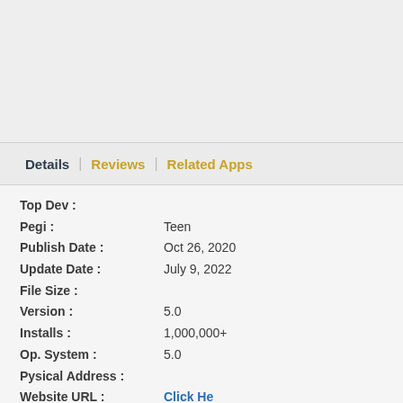Details | Reviews | Related Apps
| Field | Value |
| --- | --- |
| Top Dev : |  |
| Pegi : | Teen |
| Publish Date : | Oct 26, 2020 |
| Update Date : | July 9, 2022 |
| File Size : |  |
| Version : | 5.0 |
| Installs : | 1,000,000+ |
| Op. System : | 5.0 |
| Pysical Address : |  |
| Website URL : | Click Here |